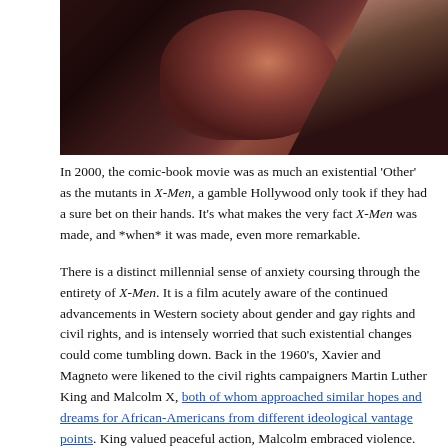[Figure (photo): A dark, moody film still showing a person in dim lighting with their hand raised near their face, predominantly dark tones with reddish highlights]
In 2000, the comic-book movie was as much an existential 'Other' as the mutants in X-Men, a gamble Hollywood only took if they had a sure bet on their hands. It's what makes the very fact X-Men was made, and *when* it was made, even more remarkable.
There is a distinct millennial sense of anxiety coursing through the entirety of X-Men. It is a film acutely aware of the continued advancements in Western society about gender and gay rights and civil rights, and is intensely worried that such existential changes could come tumbling down. Back in the 1960's, Xavier and Magneto were likened to the civil rights campaigners Martin Luther King and Malcolm X, both of whom approached similar hopes and dreams for African-Americans from different ideological vantage points. King valued peaceful action, Malcolm embraced violence. The same is true of X and Magneto. Xavier